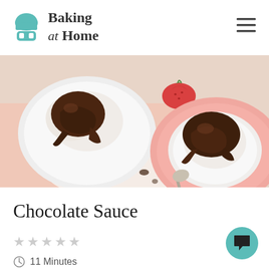Baking at Home
[Figure (photo): Overhead view of two white bowls of vanilla ice cream topped with chocolate sauce on pink and white plates, with a strawberry and spoon visible, on a light pink cloth background]
Chocolate Sauce
★★★★★ (empty stars rating)
⏱ 11 Minutes